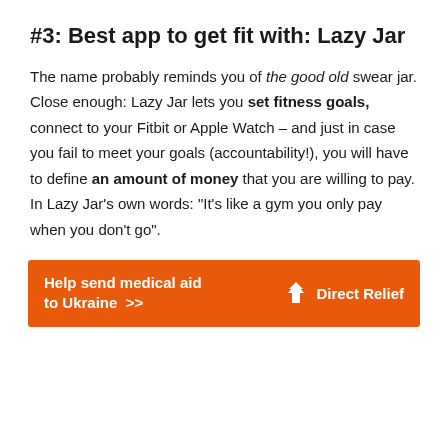#3: Best app to get fit with: Lazy Jar
The name probably reminds you of the good old swear jar. Close enough: Lazy Jar lets you set fitness goals, connect to your Fitbit or Apple Watch – and just in case you fail to meet your goals (accountability!), you will have to define an amount of money that you are willing to pay. In Lazy Jar's own words: “It’s like a gym you only pay when you don’t go”.
[Figure (infographic): Orange advertisement banner for Direct Relief reading 'Help send medical aid to Ukraine >>' with the Direct Relief logo on the right.]